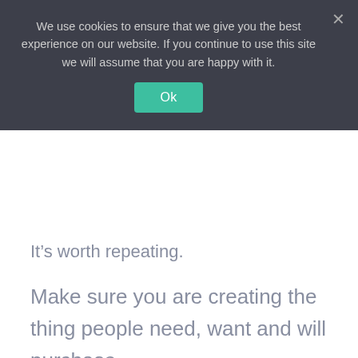We use cookies to ensure that we give you the best experience on our website. If you continue to use this site we will assume that you are happy with it.
It’s worth repeating.
Make sure you are creating the thing people need, want and will purchase.
3. How are you going to present the offer?
Are you going to run ads, send